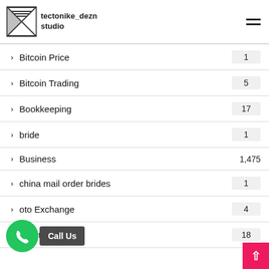tectonike_dezn studio
Bitcoin Price  1
Bitcoin Trading  5
Bookkeeping  17
bride  1
Business  1,475
china mail order brides  1
oto Exchange  4
Crypto News  18